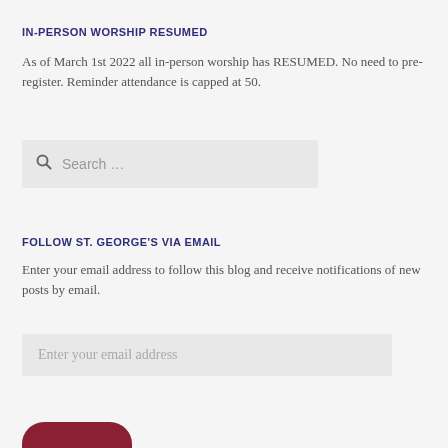IN-PERSON WORSHIP RESUMED
As of March 1st 2022 all in-person worship has RESUMED. No need to pre-register. Reminder attendance is capped at 50.
[Figure (other): Search input box with magnifying glass icon and placeholder text 'Search ...']
FOLLOW ST. GEORGE'S VIA EMAIL
Enter your email address to follow this blog and receive notifications of new posts by email.
[Figure (other): Email address input field with placeholder 'Enter your email address']
[Figure (other): Dark red rounded follow button at bottom of page]